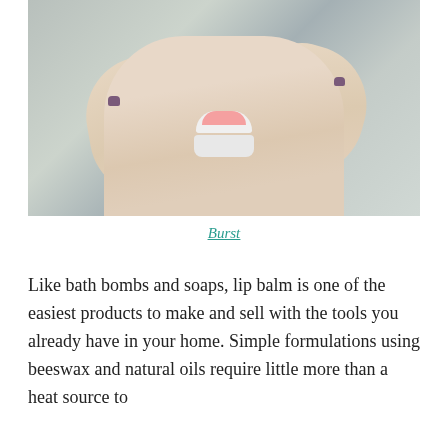[Figure (photo): A woman's hands holding open a small round lip balm container with a pink/coral product inside. The container has a white base and lid. The person has purple-painted nails and wears a simple ring. The background is soft grey/neutral tones.]
Burst
Like bath bombs and soaps, lip balm is one of the easiest products to make and sell with the tools you already have in your home. Simple formulations using beeswax and natural oils require little more than a heat source to